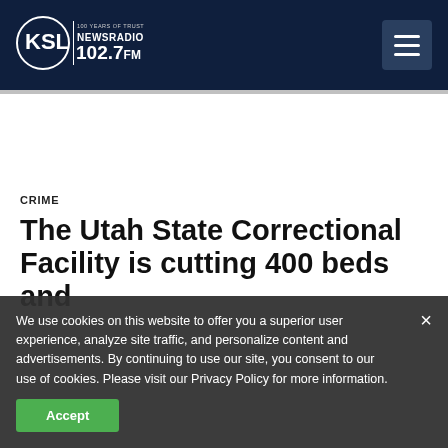[Figure (logo): KSL NewsRadio 102.7 FM logo — circular logo with KSL text and '100 Years of Trust' tagline, white on dark navy background]
KSL NewsRadio 102.7 FM navigation header with hamburger menu
CRIME
The Utah State Correctional Facility is cutting 400 beds and
We use cookies on this website to offer you a superior user experience, analyze site traffic, and personalize content and advertisements. By continuing to use our site, you consent to our use of cookies. Please visit our Privacy Policy for more information.